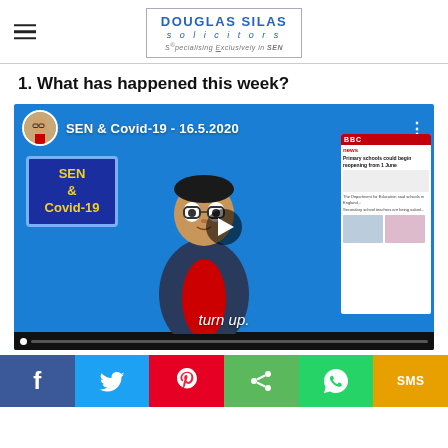Douglas Silas Solicitors — Specialising Exclusively in SEN
1. What has happened this week?
[Figure (screenshot): YouTube-style video thumbnail for 'SEN & Covid-19 - 16.5.2020', showing an animated avatar presenter, SEN & Covid-19 text box, BBC news panel screenshot on the right, play button in center, and 'turn up.' subtitle at bottom.]
[Figure (infographic): Social sharing bar with Facebook, Twitter, Pinterest, Share, WhatsApp, and SMS buttons.]